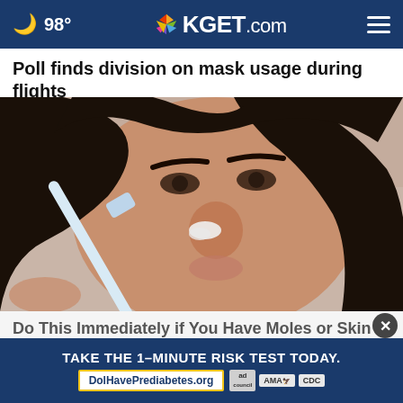98° KGET.com
Poll finds division on mask usage during flights
[Figure (photo): Close-up photo of a woman applying something to her nose with a toothbrush-like tool, with white paste visible on her nose.]
Do This Immediately if You Have Moles or Skin Tag
Remove Skin Tags at Home
[Figure (infographic): Advertisement banner: TAKE THE 1-MINUTE RISK TEST TODAY. DolHavePrediabetes.org with ad council, AMA, and CDC logos.]